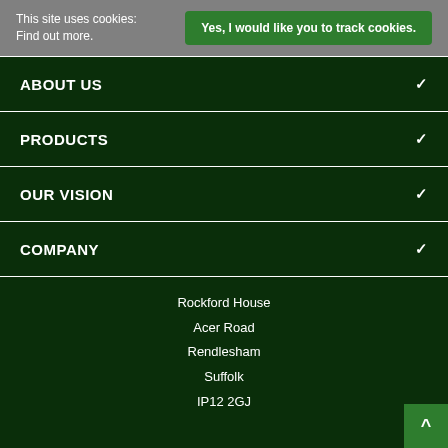This site uses cookies: Find out more.
Yes, I would like you to track cookies.
ABOUT US
PRODUCTS
OUR VISION
COMPANY
Rockford House
Acer Road
Rendlesham
Suffolk
IP12 2GJ